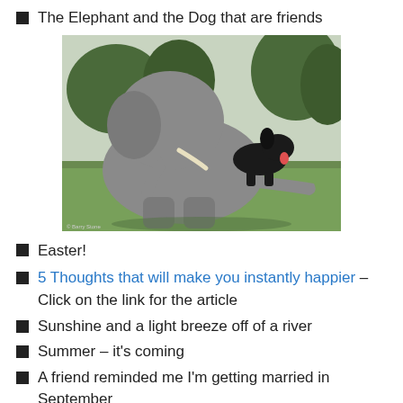The Elephant and the Dog that are friends
[Figure (photo): Photo of a large elephant sitting on grass with a black dog resting on its back leg, trees in background]
Easter!
5 Thoughts that will make you instantly happier – Click on the link for the article
Sunshine and a light breeze off of a river
Summer – it's coming
A friend reminded me I'm getting married in September